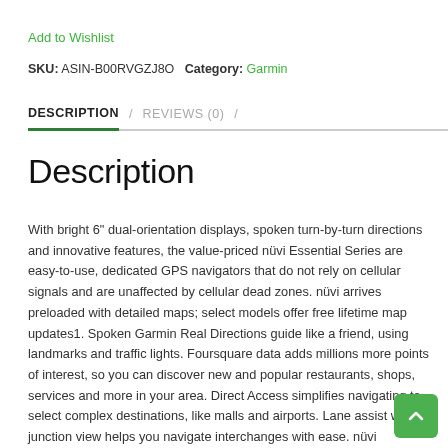Add to Wishlist
SKU: ASIN-B00RVGZJ8O  Category: Garmin
DESCRIPTION / REVIEWS (0) /
Description
With bright 6" dual-orientation displays, spoken turn-by-turn directions and innovative features, the value-priced nüvi Essential Series are easy-to-use, dedicated GPS navigators that do not rely on cellular signals and are unaffected by cellular dead zones. nüvi arrives preloaded with detailed maps; select models offer free lifetime map updates1. Spoken Garmin Real Directions guide like a friend, using landmarks and traffic lights. Foursquare data adds millions more points of interest, so you can discover new and popular restaurants, shops, services and more in your area. Direct Access simplifies navigating to select complex destinations, like malls and airports. Lane assist with junction view helps you navigate interchanges with ease. nüvi